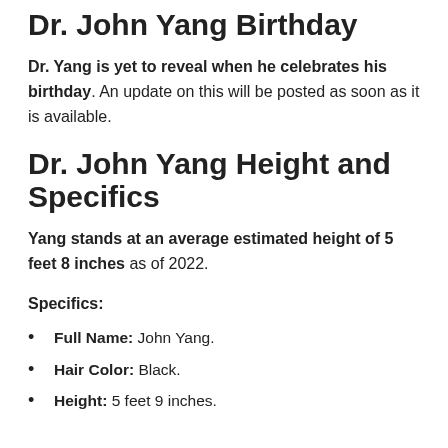Dr. John Yang Birthday
Dr. Yang is yet to reveal when he celebrates his birthday. An update on this will be posted as soon as it is available.
Dr. John Yang Height and Specifics
Yang stands at an average estimated height of 5 feet 8 inches as of 2022.
Specifics:
Full Name: John Yang.
Hair Color: Black.
Height: 5 feet 9 inches.